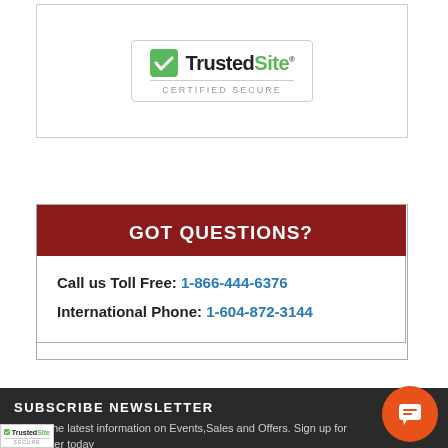[Figure (logo): TrustedSite Certified Secure badge with green checkmark logo]
GOT QUESTIONS?
Call us Toll Free: 1-866-444-6376
International Phone: 1-604-872-3144
SUBSCRIBE NEWSLETTER
Get all the latest information on Events, Sales and Offers. Sign up for newsletter today
[Figure (logo): TrustedSite Certified Secure small badge at bottom left]
[Figure (other): Orange circular chat button with speech bubble icon]